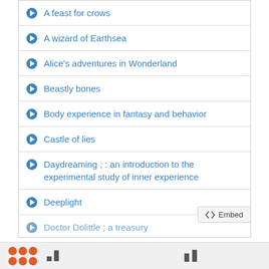A feast for crows
A wizard of Earthsea
Alice's adventures in Wonderland
Beastly bones
Body experience in fantasy and behavior
Castle of lies
Daydreaming ; : an introduction to the experimental study of inner experience
Deeplight
Doctor Dolittle ; a treasury
[Figure (logo): Footer with orange dots logo and small black square marks]